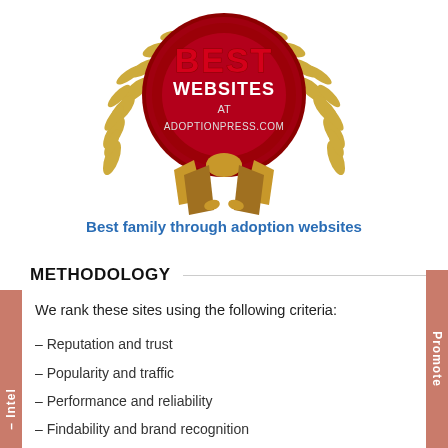[Figure (illustration): Red and gold award seal badge reading 'BEST WEBSITES AT ADOPTIONPRESS.COM' with laurel wreath and ribbon at bottom]
Best family through adoption websites
METHODOLOGY
We rank these sites using the following criteria:
– Reputation and trust
– Popularity and traffic
– Performance and reliability
– Findability and brand recognition